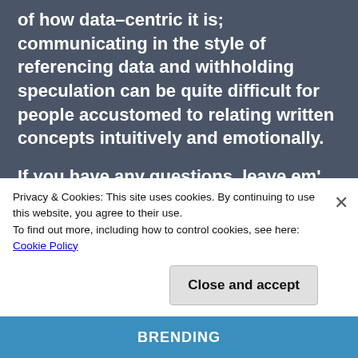of how data-centric it is; communicating in the style of referencing data and withholding speculation can be quite difficult for people accustomed to relating written concepts intuitively and emotionally.
If you have any questions, leave em' in the comments and I'll respond. I know that the 21st century will have the highest demand yet for systematic thinkers and writers, so I'm also
Privacy & Cookies: This site uses cookies. By continuing to use this website, you agree to their use.
To find out more, including how to control cookies, see here: Cookie Policy
Close and accept